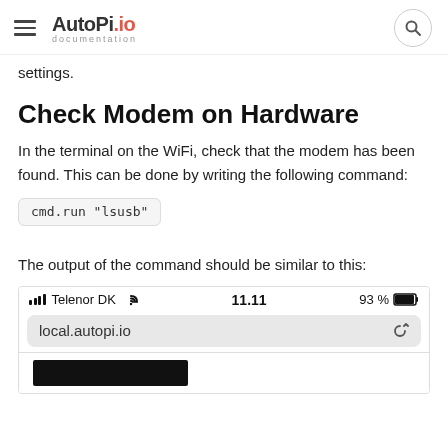AutoPi.io documentation
settings.
Check Modem on Hardware
In the terminal on the WiFi, check that the modem has been found. This can be done by writing the following command:
The output of the command should be similar to this:
[Figure (screenshot): Mobile browser screenshot showing local.autopi.io URL bar with Telenor DK carrier, 11.11 time, 93% battery, and a black redacted bar below.]